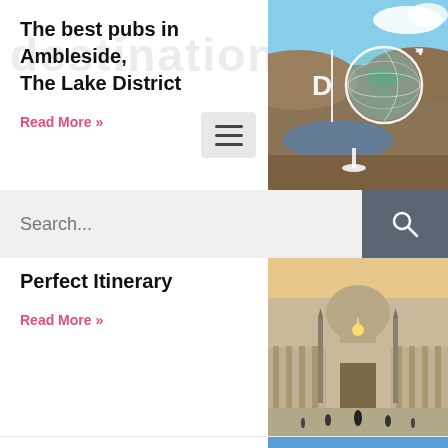The best pubs in Ambleside, The Lake District
Read More »
[Figure (photo): Landscape photo with globe icon overlay showing hills, a lake, and the letter D with a vertical bar]
Search...
Perfect Itinerary
Read More »
[Figure (photo): St. Peter's Basilica in Vatican City at sunset with tourists in the square]
Travel in the time of Coronavirus - my personal
[Figure (photo): The Colosseum in Rome under a clear blue sky]